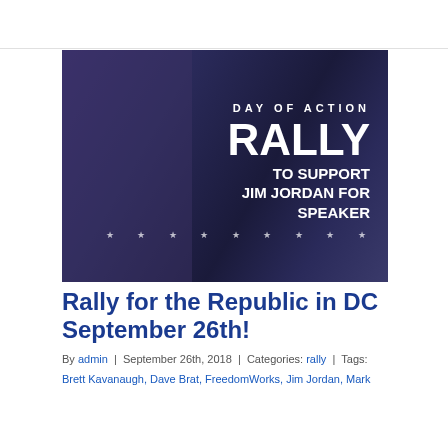[Figure (photo): Rally event image with dark blue/purple background showing a person with hand raised. Text overlaid reads 'DAY OF ACTION', 'RALLY', 'TO SUPPORT JIM JORDAN FOR SPEAKER' with decorative stars.]
Rally for the Republic in DC September 26th!
By admin | September 26th, 2018 | Categories: rally | Tags: Brett Kavanaugh, Dave Brat, FreedomWorks, Jim Jordan, Mark